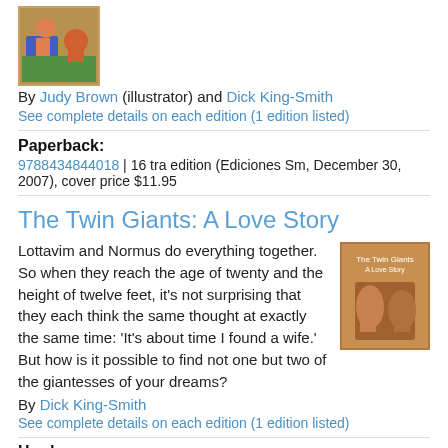[Figure (photo): Book cover thumbnail showing illustrated scene with characters and blue vehicle on green background]
By Judy Brown (illustrator) and Dick King-Smith
See complete details on each edition (1 edition listed)
Paperback:
9788434844018 | 16 tra edition (Ediciones Sm, December 30, 2007), cover price $11.95
The Twin Giants: A Love Story
Lottavim and Normus do everything together. So when they reach the age of twenty and the height of twelve feet, it's not surprising that they each think the same thought at exactly the same time: 'It's about time I found a wife.' But how is it possible to find not one but two of the giantesses of your dreams?
[Figure (photo): Book cover for The Twin Giants: A Love Story showing two large figures]
By Dick King-Smith
See complete details on each edition (1 edition listed)
Hardcover: